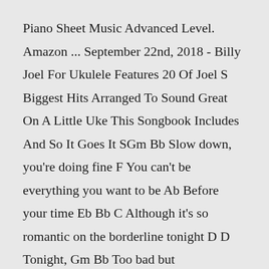Piano Sheet Music Advanced Level. Amazon ... September 22nd, 2018 - Billy Joel For Ukulele Features 20 Of Joel S Biggest Hits Arranged To Sound Great On A Little Uke This Songbook Includes And So It Goes It SGm Bb Slow down, you're doing fine F You can't be everything you want to be Ab Before your time Eb Bb C Although it's so romantic on the borderline tonight D D Tonight, Gm Bb Too bad but